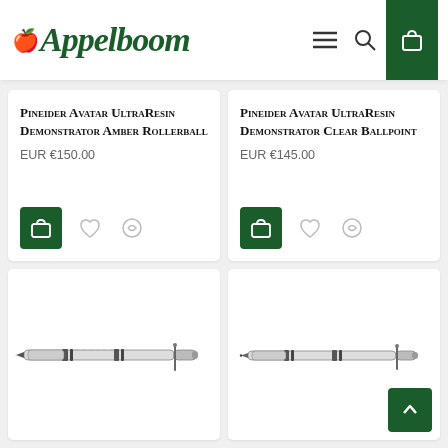Appelboom
Pineider Avatar UltraResin Demonstrator Amber Rollerball
EUR €150.00
Pineider Avatar UltraResin Demonstrator Clear Ballpoint
EUR €145.00
[Figure (photo): Pineider Avatar UltraResin Demonstrator pen (amber/clear rollerball) side view]
[Figure (photo): Pineider Avatar UltraResin Demonstrator pen (clear ballpoint) side view]